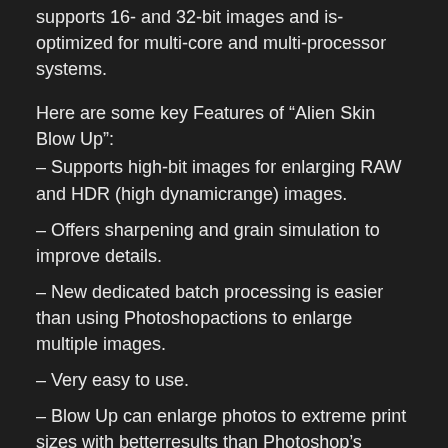supports 16- and 32-bit images and is optimized for multi-core and multi-processor systems.
Here are some key Features of “Alien Skin Blow Up”:
– Supports high-bit images for enlarging RAW and HDR (high dynamic range) images.
– Offers sharpening and grain simulation to improve details.
– New dedicated batch processing is easier than using Photoshop actions to enlarge multiple images.
– Very easy to use.
– Blow Up can enlarge photos to extreme print sizes with better results than Photoshop’s bicubic interpolation.
– Detects edges and resizes using a method similar to vector scaling to avoid undesirable stair-step or halo artifacts.
– Supports all image modes–RGB, Grayscale, Lab,